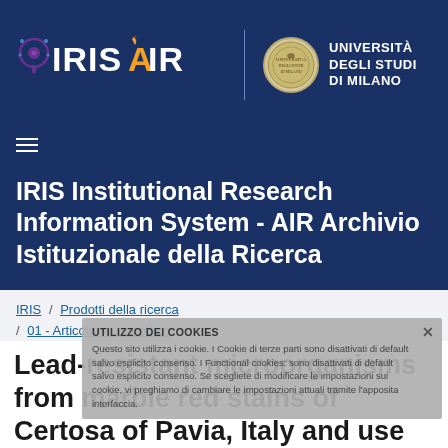[Figure (logo): IRIS AIR logo on dark blue header bar with Università degli Studi di Milano logo]
IRIS Institutional Research Information System - AIR Archivio Istituzionale della Ricerca
IRIS / Prodotti della ricerca / 01 - Articolo su periodico
UTILIZZO DEI COOKIES
Questo sito utilizza i cookie. I Cookie di terze parti sono disattivati di default salvo esplicito consenso. I Functional cookies: ... Se scegliete di modificare le impostazioni sui cookie, vi preghiamo di cambiare le impostazioni attuali tramite l'apposita interfaccia.
Lead-resistant microorganisms from marble red stains of Certosa of Pavia, Italy and use of nucleic acid-based techniques for their